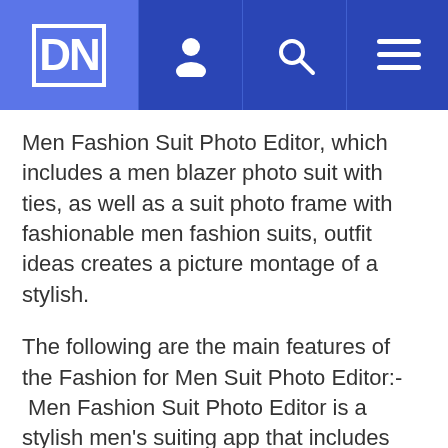DN [logo] [user icon] [search icon] [menu icon]
Men Fashion Suit Photo Editor, which includes a men blazer photo suit with ties, as well as a suit photo frame with fashionable men fashion suits, outfit ideas creates a picture montage of a stylish.
The following are the main features of the Fashion for Men Suit Photo Editor:- Men Fashion Suit Photo Editor is a stylish men's suiting app that includes formal suit men wear, as well as men's blazer photo suits.
You can set your photo in any suits in suit collection.
You are also using the photo as your phone's wallpaper.
In this suit you can the Edit Feature includes Au...